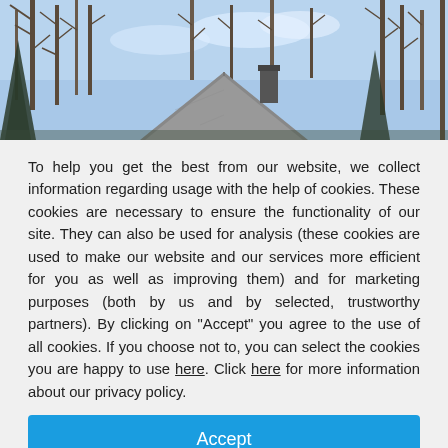[Figure (photo): Photograph of a house rooftop with bare winter trees against a blue sky in the background.]
To help you get the best from our website, we collect information regarding usage with the help of cookies. These cookies are necessary to ensure the functionality of our site. They can also be used for analysis (these cookies are used to make our website and our services more efficient for you as well as improving them) and for marketing purposes (both by us and by selected, trustworthy partners). By clicking on "Accept" you agree to the use of all cookies. If you choose not to, you can select the cookies you are happy to use here. Click here for more information about our privacy policy.
Accept
Decline
Configure